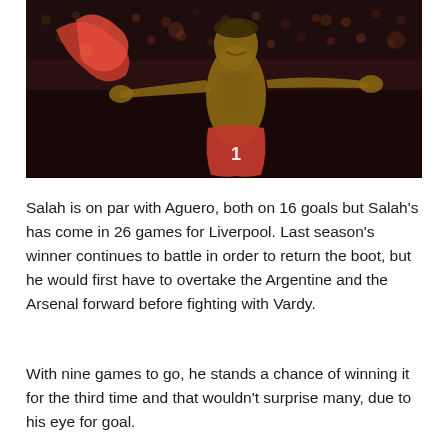[Figure (photo): A football player (Mohamed Salah) celebrating shirtless in a Liverpool red kit, arms spread wide, with a blurred crowd in the background at night]
Salah is on par with Aguero, both on 16 goals but Salah's has come in 26 games for Liverpool. Last season's winner continues to battle in order to return the boot, but he would first have to overtake the Argentine and the Arsenal forward before fighting with Vardy.
With nine games to go, he stands a chance of winning it for the third time and that wouldn't surprise many, due to his eye for goal.